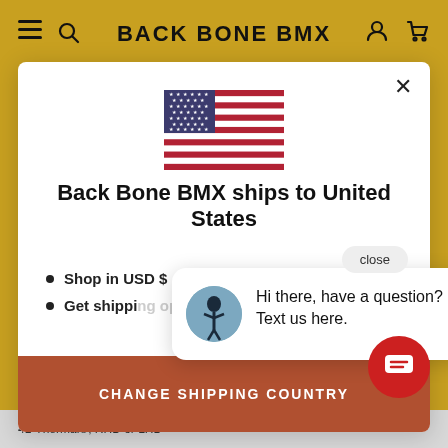BACK BONE BMX
[Figure (illustration): US flag SVG illustration in the modal]
Back Bone BMX ships to United States
Shop in USD $
Get shipping options for United States
CHANGE SHIPPING COUNTRY
[Figure (photo): BMX rider avatar in chat bubble]
Hi there, have a question? Text us here.
41-Thermal®, RHD or LHD